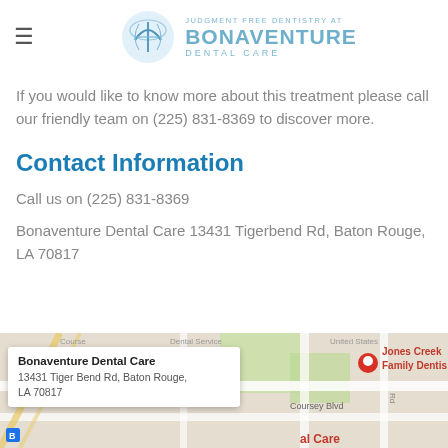Bonaventure Dental Care — Judgment Free Dentistry
If you would like to know more about this treatment please call our friendly team on (225) 831-8369 to discover more.
Contact Information
Call us on (225) 831-8369
Bonaventure Dental Care 13431 Tigerbend Rd, Baton Rouge, LA 70817
[Figure (map): Google Maps embed showing location of Bonaventure Dental Care at 13431 Tiger Bend Rd, Baton Rouge, LA 70817, with a popup info card and red location pin.]